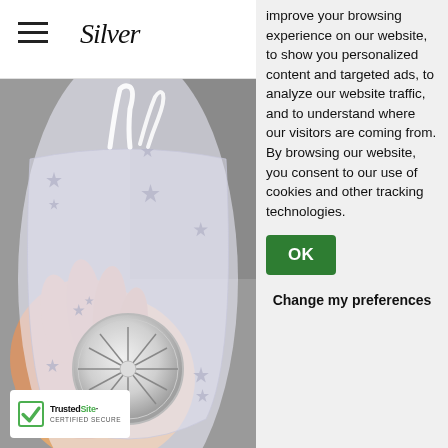Silver (logo/brand name)
[Figure (photo): A hand holding a clear organza drawstring gift bag decorated with silver stars, containing what appears to be a silver commemorative coin with a snowflake or floral design. The bag is semi-transparent and sparkly.]
[Figure (logo): TrustedSite Certified Secure badge with green checkmark]
improve your browsing experience on our website, to show you personalized content and targeted ads, to analyze our website traffic, and to understand where our visitors are coming from. By browsing our website, you consent to our use of cookies and other tracking technologies.
OK
Change my preferences